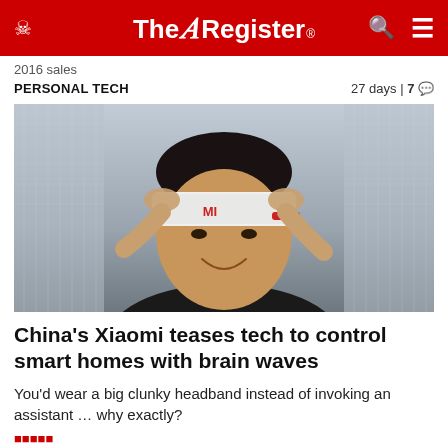The Register
2016 sales
PERSONAL TECH    27 days | 7
[Figure (photo): A person putting on or adjusting a wide white headband device on their forehead, smiling, with buildings in the background. The headband appears to be a Xiaomi brain-wave headband device.]
China's Xiaomi teases tech to control smart homes with brain waves
You'd wear a big clunky headband instead of invoking an assistant … why exactly?